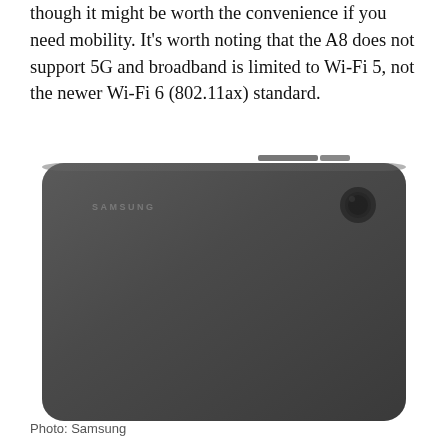though it might be worth the convenience if you need mobility. It's worth noting that the A8 does not support 5G and broadband is limited to Wi-Fi 5, not the newer Wi-Fi 6 (802.11ax) standard.
[Figure (photo): Rear view of a Samsung Galaxy Tab A8 tablet in dark gray/graphite color, showing the Samsung logo in the upper left and a circular camera lens in the upper right corner.]
Photo: Samsung